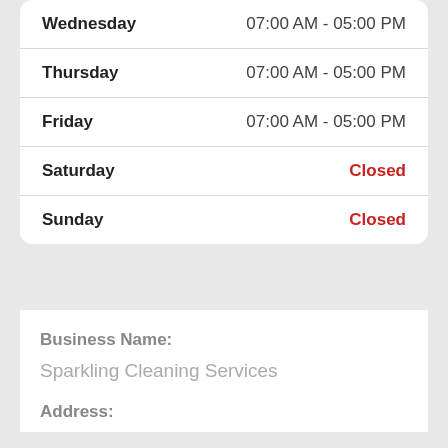| Day | Hours |
| --- | --- |
| Wednesday | 07:00 AM - 05:00 PM |
| Thursday | 07:00 AM - 05:00 PM |
| Friday | 07:00 AM - 05:00 PM |
| Saturday | Closed |
| Sunday | Closed |
Business Name:
Sparkling Cleaning Services
Address: